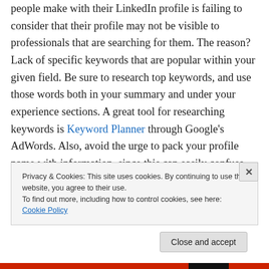people make with their LinkedIn profile is failing to consider that their profile may not be visible to professionals that are searching for them. The reason? Lack of specific keywords that are popular within your given field. Be sure to research top keywords, and use those words both in your summary and under your experience sections. A great tool for researching keywords is Keyword Planner through Google's AdWords. Also, avoid the urge to pack your profile name with information, since this can easily confuse the search function.
Privacy & Cookies: This site uses cookies. By continuing to use this website, you agree to their use. To find out more, including how to control cookies, see here: Cookie Policy
Close and accept